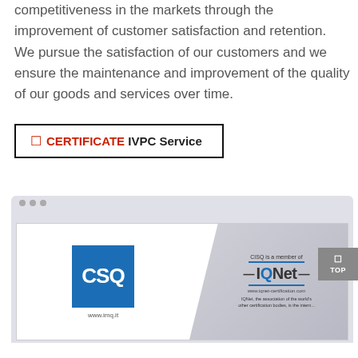competitiveness in the markets through the improvement of customer satisfaction and retention. We pursue the satisfaction of our customers and we ensure the maintenance and improvement of the quality of our goods and services over time.
☐ CERTIFICATE IVPC Service
[Figure (screenshot): Browser screenshot showing CSQ certification logo on the left and IQNet 'member of' logo on the right against a grey diagonal background. URL www.imq.it visible below CSQ logo.]